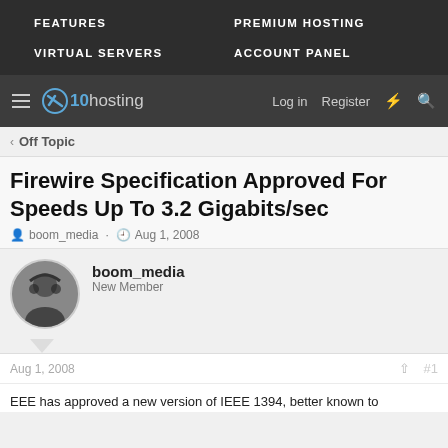FEATURES   PREMIUM HOSTING   VIRTUAL SERVERS   ACCOUNT PANEL
[Figure (logo): x10hosting logo with hamburger menu, Log in, Register, lightning bolt and search icons on dark toolbar]
< Off Topic
Firewire Specification Approved For Speeds Up To 3.2 Gigabits/sec
boom_media · Aug 1, 2008
boom_media
New Member
Aug 1, 2008   #1
EEE has approved a new version of IEEE 1394, better known to